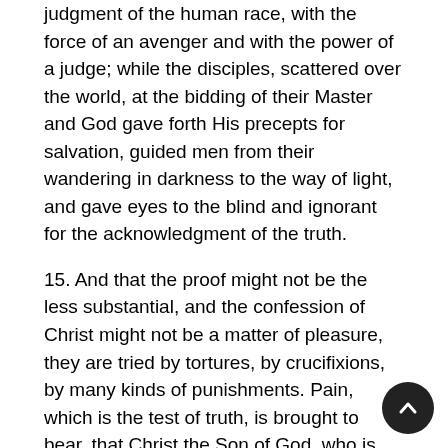judgment of the human race, with the force of an avenger and with the power of a judge; while the disciples, scattered over the world, at the bidding of their Master and God gave forth His precepts for salvation, guided men from their wandering in darkness to the way of light, and gave eyes to the blind and ignorant for the acknowledgment of the truth.
15. And that the proof might not be the less substantial, and the confession of Christ might not be a matter of pleasure, they are tried by tortures, by crucifixions, by many kinds of punishments. Pain, which is the test of truth, is brought to bear, that Christ the Son of God, who is trusted in as given to men for their life, might not only be announced by the heralding of the voice, but by the testimony of suffering.